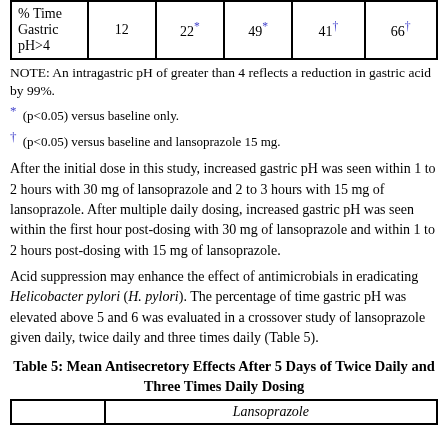|  |  | 22* | 49* | 41† | 66† |
| --- | --- | --- | --- | --- | --- |
| % Time
Gastric
pH>4 | 12 | 22* | 49* | 41† | 66† |
NOTE: An intragastric pH of greater than 4 reflects a reduction in gastric acid by 99%.
* (p<0.05) versus baseline only.
† (p<0.05) versus baseline and lansoprazole 15 mg.
After the initial dose in this study, increased gastric pH was seen within 1 to 2 hours with 30 mg of lansoprazole and 2 to 3 hours with 15 mg of lansoprazole. After multiple daily dosing, increased gastric pH was seen within the first hour post-dosing with 30 mg of lansoprazole and within 1 to 2 hours post-dosing with 15 mg of lansoprazole.
Acid suppression may enhance the effect of antimicrobials in eradicating Helicobacter pylori (H. pylori). The percentage of time gastric pH was elevated above 5 and 6 was evaluated in a crossover study of lansoprazole given daily, twice daily and three times daily (Table 5).
Table 5: Mean Antisecretory Effects After 5 Days of Twice Daily and Three Times Daily Dosing
|  | Lansoprazole |
| --- | --- |